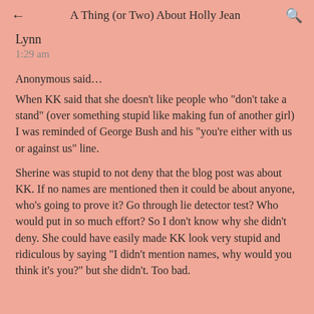← A Thing (or Two) About Holly Jean 🔍
Lynn
1:29 am
Anonymous said…
When KK said that she doesn't like people who "don't take a stand" (over something stupid like making fun of another girl) I was reminded of George Bush and his "you're either with us or against us" line.
Sherine was stupid to not deny that the blog post was about KK. If no names are mentioned then it could be about anyone, who's going to prove it? Go through lie detector test? Who would put in so much effort? So I don't know why she didn't deny. She could have easily made KK look very stupid and ridiculous by saying "I didn't mention names, why would you think it's you?" but she didn't. Too bad.